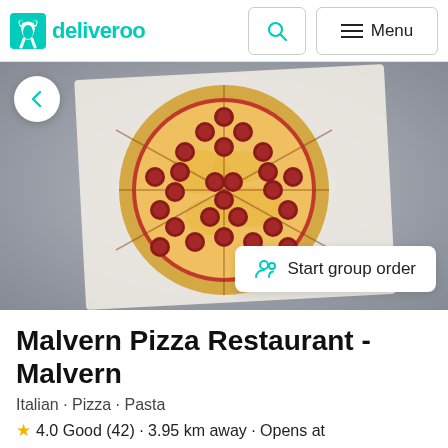deliveroo
[Figure (photo): A whole pepperoni pizza cut into slices, on white parchment paper, on a grey stone surface. A white circular back button is in the top-left of the image. A white 'Start group order' button is in the bottom-right.]
Malvern Pizza Restaurant - Malvern
Italian · Pizza · Pasta
★ 4.0 Good (42) · 3.95 km away · Opens at